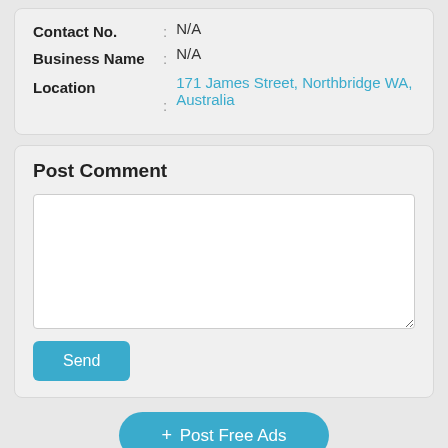Contact No. : N/A
Business Name : N/A
Location : 171 James Street, Northbridge WA, Australia
Post Comment
Send
+ Post Free Ads
Keep yourself safe. Always meet in person and